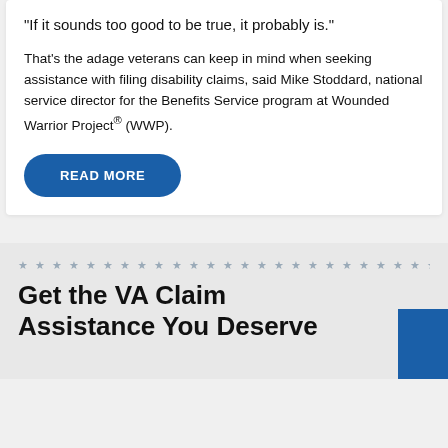“If it sounds too good to be true, it probably is.”
That’s the adage veterans can keep in mind when seeking assistance with filing disability claims, said Mike Stoddard, national service director for the Benefits Service program at Wounded Warrior Project® (WWP).
READ MORE
Get the VA Claim Assistance You Deserve